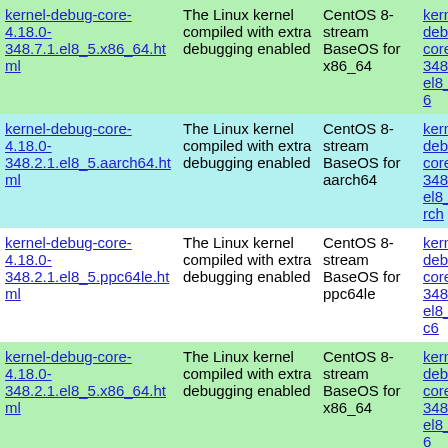| Package | Summary | Distribution | Link |
| --- | --- | --- | --- |
| kernel-debug-core-4.18.0-348.7.1.el8_5.x86_64.html | The Linux kernel compiled with extra debugging enabled | CentOS 8-stream BaseOS for x86_64 | kernel-debug-core-348.7.1.el8_5.x86_... |
| kernel-debug-core-4.18.0-348.2.1.el8_5.aarch64.html | The Linux kernel compiled with extra debugging enabled | CentOS 8-stream BaseOS for aarch64 | kernel-debug-core-348.2.1.el8_5.aarch... |
| kernel-debug-core-4.18.0-348.2.1.el8_5.ppc64le.html | The Linux kernel compiled with extra debugging enabled | CentOS 8-stream BaseOS for ppc64le | kernel-debug-core-348.2.1.el8_5.ppc6... |
| kernel-debug-core-4.18.0-348.2.1.el8_5.x86_64.html | The Linux kernel compiled with extra debugging enabled | CentOS 8-stream BaseOS for x86_64 | kernel-debug-core-348.2.1.el8_5.x86... |
| kernel-debug-core-4.18.0-... | The Linux kernel compiled... | CentOS 8-... | kernel-debug-core-... |